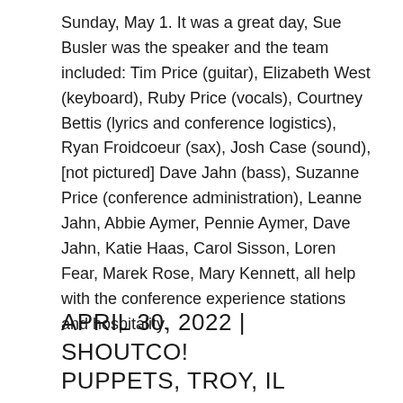Sunday, May 1. It was a great day, Sue Busler was the speaker and the team included: Tim Price (guitar), Elizabeth West (keyboard), Ruby Price (vocals), Courtney Bettis (lyrics and conference logistics), Ryan Froidcoeur (sax), Josh Case (sound), [not pictured] Dave Jahn (bass), Suzanne Price (conference administration), Leanne Jahn, Abbie Aymer, Pennie Aymer, Dave Jahn, Katie Haas, Carol Sisson, Loren Fear, Marek Rose, Mary Kennett, all help with the conference experience stations and hospitality.
APRIL 30, 2022 | SHOUTCO! PUPPETS, TROY, IL